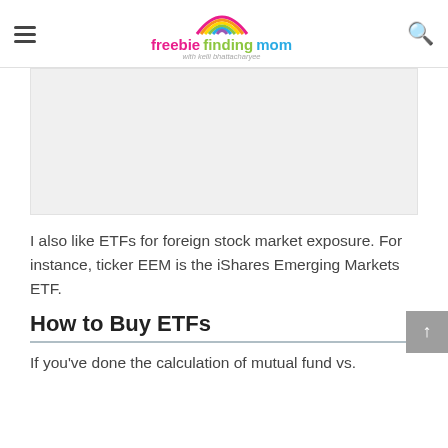freebie finding mom with kelli bhattacharyee
[Figure (other): Gray advertisement placeholder box]
I also like ETFs for foreign stock market exposure. For instance, ticker EEM is the iShares Emerging Markets ETF.
How to Buy ETFs
If you've done the calculation of mutual fund vs.